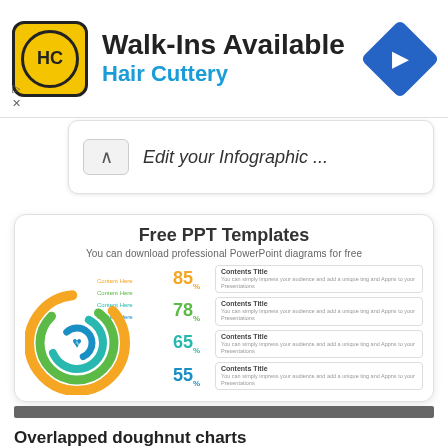[Figure (screenshot): Hair Cuttery ad banner with logo, Walk-Ins Available text, and navigation icon]
Edit your Infographic ...
Free PPT Templates
You can download professional PowerPoint diagrams for free
[Figure (donut-chart): Overlapping concentric donut chart with orange, green, teal, and blue rings with a heart/pulse icon in the center. Values: 85%, 78%, 65%, 55%]
Overlapped doughnut charts
Download this Free Infographic charts